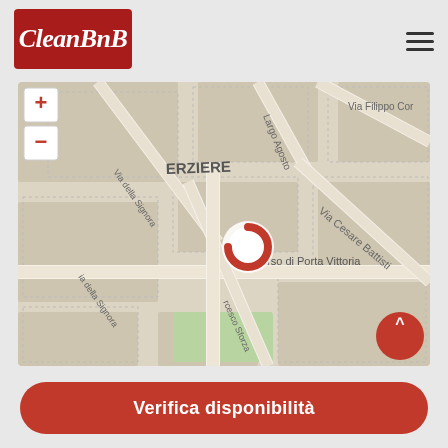[Figure (logo): CleanBnB logo - red rectangle with white italic text]
[Figure (map): Street map of Milan showing Corso di Porta Vittoria, Via Cesare Battisti, Via Filippo Corridoni, Largo Augusto, Via della Signora, Francesco Sforza streets. A circular red and white location marker is shown at the center. Map has zoom controls (+ and -) at top left and a red scroll-to-top button at bottom right.]
Verifica disponibilità